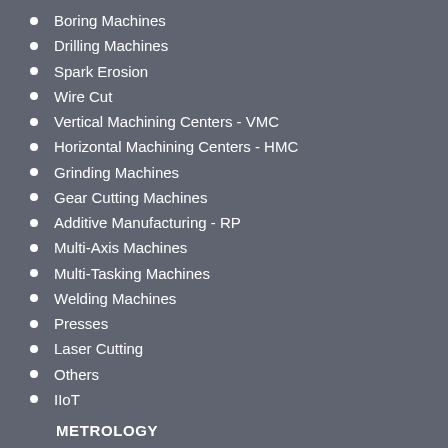Boring Machines
Drilling Machines
Spark Erosion
Wire Cut
Vertical Machining Centers - VMC
Horizontal Machining Centers - HMC
Grinding Machines
Gear Cutting Machines
Additive Manufacturing - RP
Multi-Axis Machines
Multi-Tasking Machines
Welding Machines
Presses
Laser Cutting
Others
IIoT
METROLOGY
CMM
VMM ( Vision Measuring Machines )